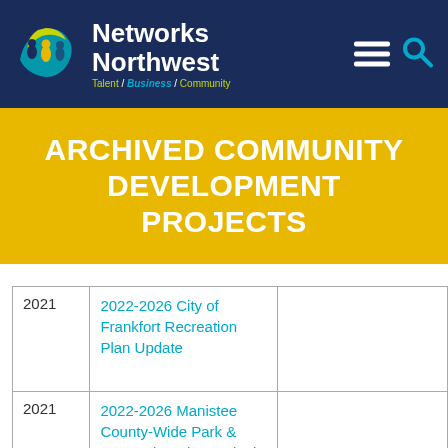[Figure (logo): Networks Northwest logo — circular icon with teal, yellow and blue figures, alongside brand name and tagline 'Talent / Business / Community']
ARCHIVED COMMUNITY DEVELOPMENT PROJECTS
| Year | Project |  |
| --- | --- | --- |
| 2021 | 2022-2026 City of Frankfort Recreation Plan Update |  |
| 2021 | 2022-2026 Manistee County-Wide Park & Recreation Plan – Final (all) |  |